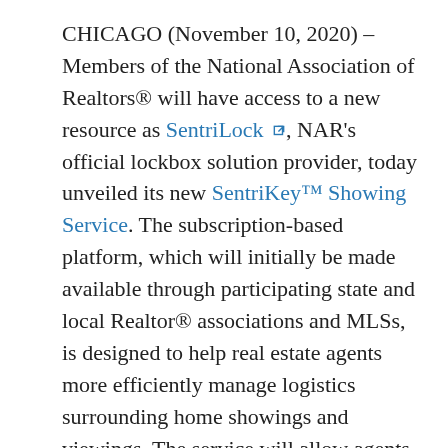CHICAGO (November 10, 2020) – Members of the National Association of Realtors® will have access to a new resource as SentriLock, NAR's official lockbox solution provider, today unveiled its new SentriKey™ Showing Service. The subscription-based platform, which will initially be made available through participating state and local Realtor® associations and MLSs, is designed to help real estate agents more efficiently manage logistics surrounding home showings and viewings. The service will allow agents to quickly open lockboxes from their smartphones or tablets, and is the only all-in-one platform built to manage showings, client communications